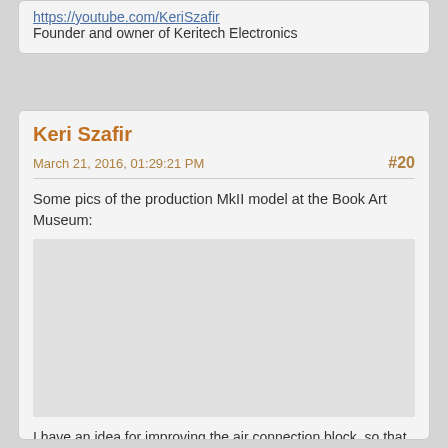https://youtube.com/KeriSzafir
Founder and owner of Keritech Electronics
Keri Szafir
March 21, 2016, 01:29:21 PM
#20
Some pics of the production MkII model at the Book Art Museum:
[Figure (photo): Photos of the production MkII model at the Book Art Museum (image area appears blank/loading)]
I have an idea for improving the air connection block, so that all tubes are connected on the bottom side. The block could be made of aluminum with screw-in tubes.
The original block from Tjitze Mast had 4mm O.D. brass tubes, but it was a bit too large to put on the 2.5mm I.D. plastic hose; I decided to cut off the brass tubes, drill the holes and solder 31